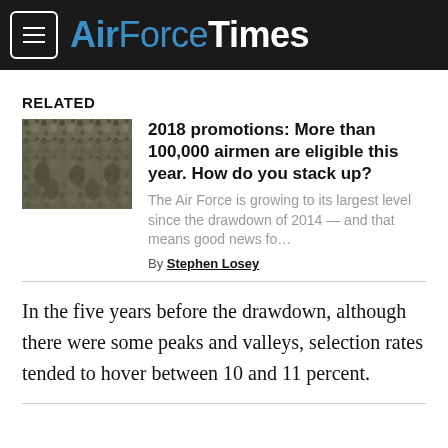AirForceTimes
RELATED
[Figure (photo): Group of airmen in camouflage uniforms, crowd shot]
2018 promotions: More than 100,000 airmen are eligible this year. How do you stack up?
The Air Force is growing to its largest level since the drawdown of 2014 — and that means good news fo…
By Stephen Losey
In the five years before the drawdown, although there were some peaks and valleys, selection rates tended to hover between 10 and 11 percent.